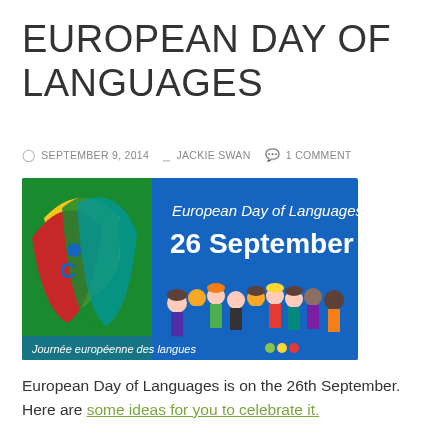EUROPEAN DAY OF LANGUAGES
SEPTEMBER 9, 2014   JACKIE SWAN   1 COMMENT
[Figure (illustration): European Day of Languages banner showing colorful cartoon people and illustrated faces in red, yellow, green. Text reads: European Day of Languages 26 September. Bottom text: Journée européenne des langues.]
European Day of Languages is on the 26th September. Here are some ideas for you to celebrate it.